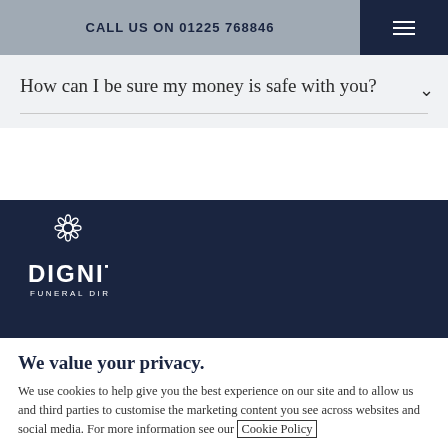CALL US ON 01225 768846
How can I be sure my money is safe with you?
[Figure (logo): Dignity Funeral Directors logo — white flower icon above the words DIGNITY FUNERAL DIRECTORS on a dark navy background]
We value your privacy.
We use cookies to help give you the best experience on our site and to allow us and third parties to customise the marketing content you see across websites and social media. For more information see our Cookie Policy